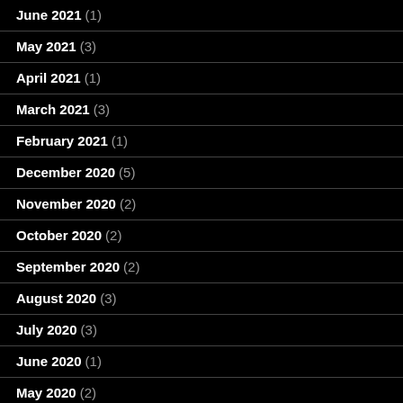June 2021 (1)
May 2021 (3)
April 2021 (1)
March 2021 (3)
February 2021 (1)
December 2020 (5)
November 2020 (2)
October 2020 (2)
September 2020 (2)
August 2020 (3)
July 2020 (3)
June 2020 (1)
May 2020 (2)